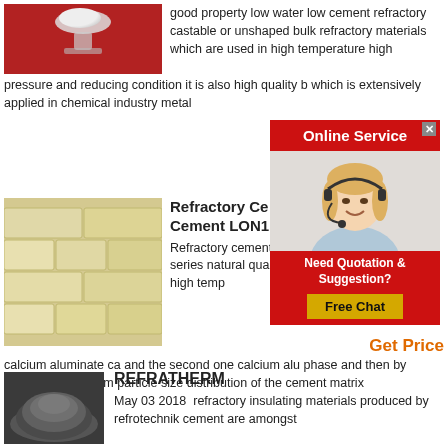[Figure (photo): Red background product photo with a white object on a pedestal]
good property low water low cement refractory castable or unshaped bulk refractory materials which are used in high temperature high pressure and reducing condition it is also high quality b which is extensively applied in chemical industry metal
[Figure (screenshot): Online Service popup with red header, photo of woman with headset, Need Quotation & Suggestion text, and Free Chat button]
[Figure (photo): Stack of pale yellow refractory bricks]
Refractory Ce Cement LON1
Refractory cement i cement ca50 series natural quality baux materials high temp calcium aluminate ca and the second one calcium alu phase and then by grinding to optimum particle size distribution of the cement matrix
Get Price
[Figure (photo): Dark gray powder/granule material]
REFRATHERM
May 03 2018  refractory insulating materials produced by refrotechnik cement are amongst